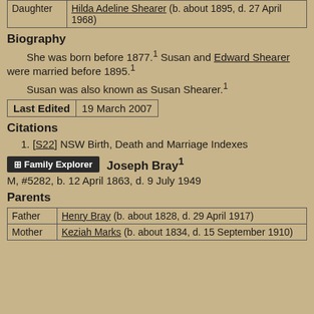| Role | Name |
| --- | --- |
| Daughter | Hilda Adeline Shearer (b. about 1895, d. 27 April 1968) |
Biography
She was born before 1877.¹ Susan and Edward Shearer were married before 1895.¹
Susan was also known as Susan Shearer.¹
| Last Edited | Date |
| --- | --- |
| Last Edited | 19 March 2007 |
Citations
1. [S22] NSW Birth, Death and Marriage Indexes
Joseph Bray¹ M, #5282, b. 12 April 1863, d. 9 July 1949
Parents
| Role | Name |
| --- | --- |
| Father | Henry Bray (b. about 1828, d. 29 April 1917) |
| Mother | Keziah Marks (b. about 1834, d. 15 September 1910) |